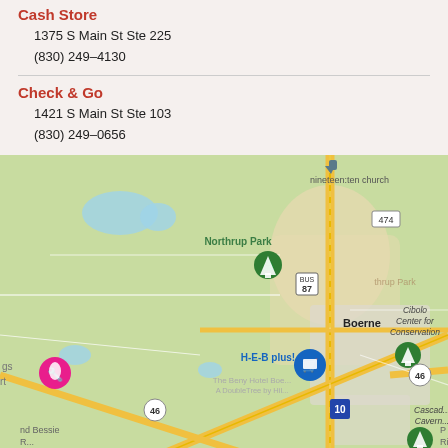Cash Store
1375 S Main St Ste 225
(830) 249-4130
Check & Go
1421 S Main St Ste 103
(830) 249-0656
[Figure (map): Google Maps view of Boerne, TX area showing Northrup Park, Cibolo Center for Conservation, H-E-B plus!, The Beny Hotel Boerne A DoubleTree by Hilton, Cascade Caverns, route 474, BUS 87, route 46, route 10, and various location pins.]